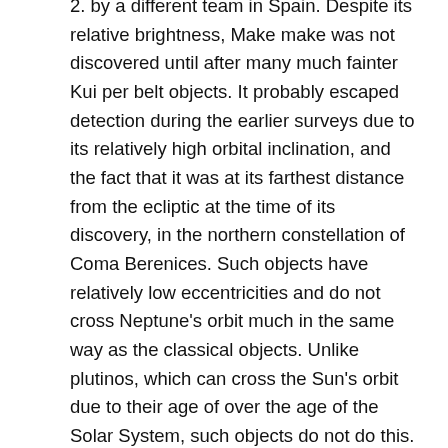2. by a different team in Spain. Despite its relative brightness, Make make was not discovered until after many much fainter Kui per belt objects. It probably escaped detection during the earlier surveys due to its relatively high orbital inclination, and the fact that it was at its farthest distance from the ecliptic at the time of its discovery, in the northern constellation of Coma Berenices. Such objects have relatively low eccentricities and do not cross Neptune's orbit much in the same way as the classical objects. Unlike plutinos, which can cross the Sun's orbit due to their age of over the age of the Solar System, such objects do not do this. Makemake passed its aphelion in early 1992.
You want to know more about Makemake? This page is based on the article Makemake published in Wikipedia (as of Nov. 22, 2020) and was automatically summarized using artificial intelligence.
Related Posts: